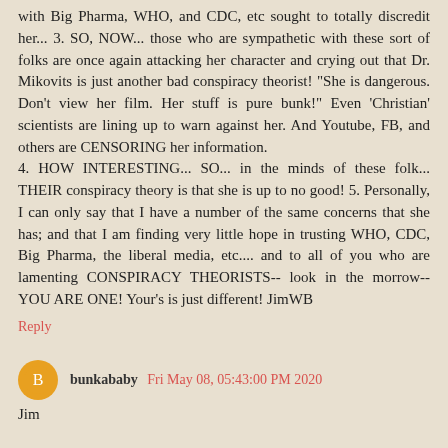with Big Pharma, WHO, and CDC, etc sought to totally discredit her... 3. SO, NOW... those who are sympathetic with these sort of folks are once again attacking her character and crying out that Dr. Mikovits is just another bad conspiracy theorist! "She is dangerous. Don't view her film. Her stuff is pure bunk!" Even 'Christian' scientists are lining up to warn against her. And Youtube, FB, and others are CENSORING her information.
4. HOW INTERESTING... SO... in the minds of these folk... THEIR conspiracy theory is that she is up to no good! 5. Personally, I can only say that I have a number of the same concerns that she has; and that I am finding very little hope in trusting WHO, CDC, Big Pharma, the liberal media, etc.... and to all of you who are lamenting CONSPIRACY THEORISTS-- look in the morrow-- YOU ARE ONE! Your's is just different! JimWB
Reply
bunkababy  Fri May 08, 05:43:00 PM 2020
Jim